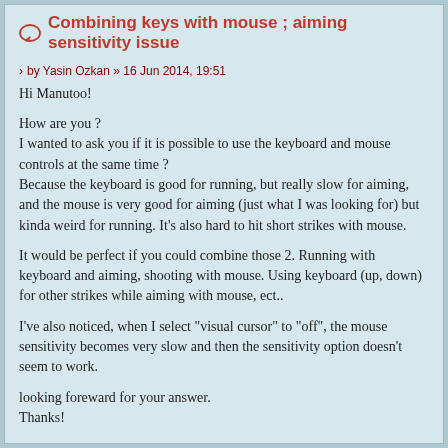Combining keys with mouse ; aiming sensitivity issue
by Yasin Ozkan » 16 Jun 2014, 19:51
Hi Manutoo!

How are you ?
I wanted to ask you if it is possible to use the keyboard and mouse controls at the same time ?
Because the keyboard is good for running, but really slow for aiming, and the mouse is very good for aiming (just what I was looking for) but kinda weird for running. It's also hard to hit short strikes with mouse.

It would be perfect if you could combine those 2. Running with keyboard and aiming, shooting with mouse. Using keyboard (up, down) for other strikes while aiming with mouse, ect..

I've also noticed, when I select "visual cursor" to "off", the mouse sensitivity becomes very slow and then the sensitivity option doesn't seem to work.

looking foreward for your answer.
Thanks!